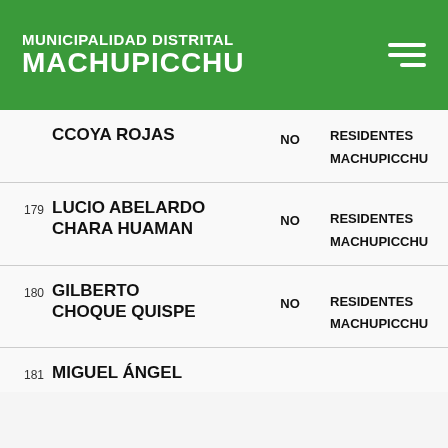MUNICIPALIDAD DISTRITAL MACHUPICCHU
| # | Nombre | Estado | Categoría |
| --- | --- | --- | --- |
|  | CCOYA ROJAS | NO | RESIDENTES
MACHUPICCHU |
| 179 | LUCIO ABELARDO CHARA HUAMAN | NO | RESIDENTES
MACHUPICCHU |
| 180 | GILBERTO CHOQUE QUISPE | NO | RESIDENTES
MACHUPICCHU |
| 181 | MIGUEL ÁNGEL |  |  |